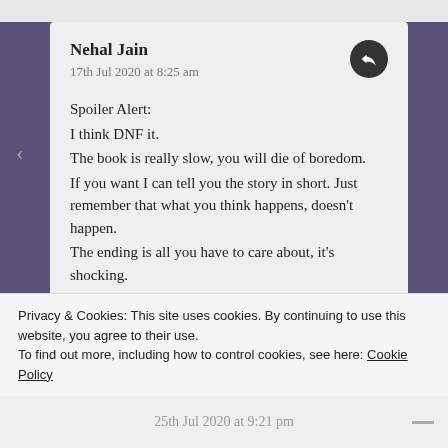Nehal Jain
17th Jul 2020 at 8:25 am
Spoiler Alert:
I think DNF it.
The book is really slow, you will die of boredom.
If you want I can tell you the story in short. Just remember that what you think happens, doesn't happen.
The ending is all you have to care about, it's shocking.
It's otherwise a waste of time
Privacy & Cookies: This site uses cookies. By continuing to use this website, you agree to their use.
To find out more, including how to control cookies, see here: Cookie Policy
Close and accept
25th Jul 2020 at 9:21 pm